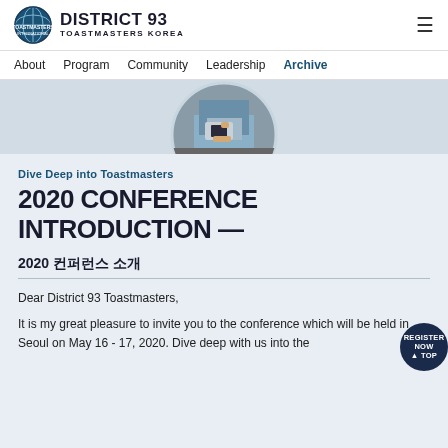DISTRICT 93 TOASTMASTERS KOREA
[Figure (photo): Circular cropped photo showing a person in a blue shirt holding what appears to be a book or card, photographed from above on a grey surface.]
Dive Deep into Toastmasters
2020 CONFERENCE INTRODUCTION —
2020 컨퍼런스 소개
Dear District 93 Toastmasters,
It is my great pleasure to invite you to the conference which will be held in Seoul on May 16 - 17, 2020. Dive deep with us into the